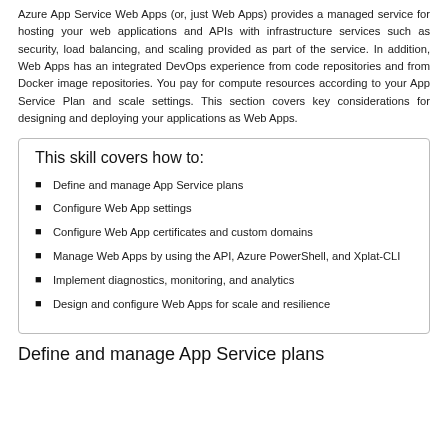Azure App Service Web Apps (or, just Web Apps) provides a managed service for hosting your web applications and APIs with infrastructure services such as security, load balancing, and scaling provided as part of the service. In addition, Web Apps has an integrated DevOps experience from code repositories and from Docker image repositories. You pay for compute resources according to your App Service Plan and scale settings. This section covers key considerations for designing and deploying your applications as Web Apps.
This skill covers how to:
Define and manage App Service plans
Configure Web App settings
Configure Web App certificates and custom domains
Manage Web Apps by using the API, Azure PowerShell, and Xplat-CLI
Implement diagnostics, monitoring, and analytics
Design and configure Web Apps for scale and resilience
Define and manage App Service plans